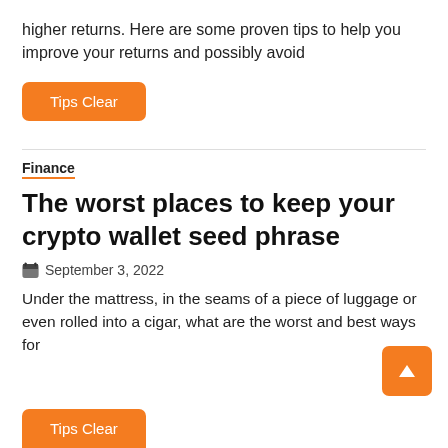higher returns. Here are some proven tips to help you improve your returns and possibly avoid
[Figure (other): Orange rounded button labeled 'Tips Clear']
Finance
The worst places to keep your crypto wallet seed phrase
September 3, 2022
Under the mattress, in the seams of a piece of luggage or even rolled into a cigar, what are the worst and best ways for
[Figure (other): Orange rounded button with upward arrow icon (scroll to top)]
[Figure (other): Orange rounded button labeled 'Tips Clear' at bottom]